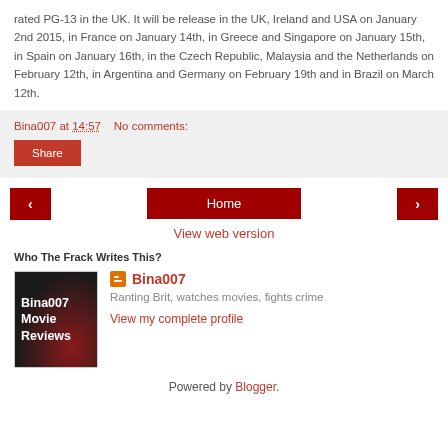rated PG-13 in the UK. It will be release in the UK, Ireland and USA on January 2nd 2015, in France on January 14th, in Greece and Singapore on January 15th, in Spain on January 16th, in the Czech Republic, Malaysia and the Netherlands on February 12th, in Argentina and Germany on February 19th and in Brazil on March 12th.
Bina007 at 14:57   No comments:
Share
< Home >
View web version
Who The Frack Writes This?
[Figure (illustration): Profile image thumbnail labeled 'Bina007 Movie Reviews' with dark red background]
Bina007
Ranting Brit, watches movies, fights crime
View my complete profile
Powered by Blogger.